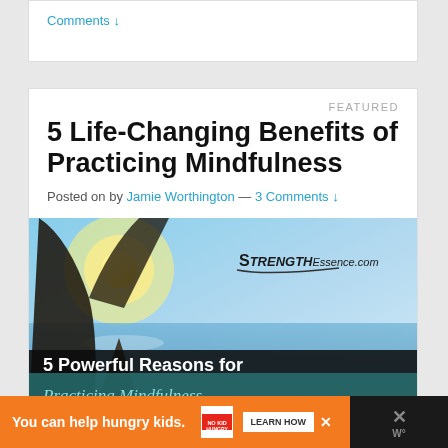Comments ↓
FEATURED
5 Life-Changing Benefits of Practicing Mindfulness
Posted on by Jamie Worthington — 3 Comments ↓
[Figure (photo): Person meditating outdoors near water with sunlight, with overlay text '5 Powerful Reasons for Practicing Mindfulness' and StrengthEssence.com logo]
You can help hungry kids. NO KID HUNGRY LEARN HOW